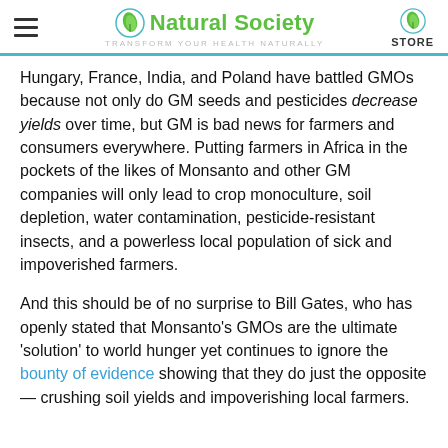Natural Society — Transform your health naturally | STORE
Hungary, France, India, and Poland have battled GMOs because not only do GM seeds and pesticides decrease yields over time, but GM is bad news for farmers and consumers everywhere. Putting farmers in Africa in the pockets of the likes of Monsanto and other GM companies will only lead to crop monoculture, soil depletion, water contamination, pesticide-resistant insects, and a powerless local population of sick and impoverished farmers.
And this should be of no surprise to Bill Gates, who has openly stated that Monsanto's GMOs are the ultimate 'solution' to world hunger yet continues to ignore the bounty of evidence showing that they do just the opposite — crushing soil yields and impoverishing local farmers.